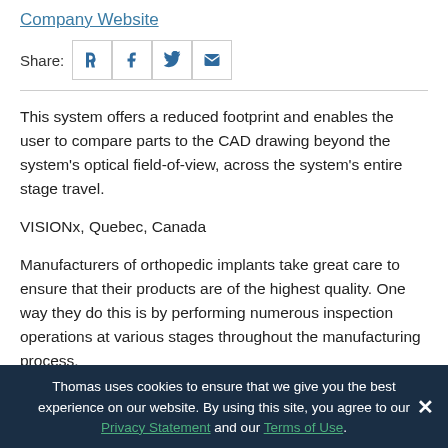Company Website
Share:
This system offers a reduced footprint and enables the user to compare parts to the CAD drawing beyond the system's optical field-of-view, across the system's entire stage travel.
VISIONx, Quebec, Canada
Manufacturers of orthopedic implants take great care to ensure that their products are of the highest quality. One way they do this is by performing numerous inspection operations at various stages throughout the manufacturing process.
Thomas uses cookies to ensure that we give you the best experience on our website. By using this site, you agree to our Privacy Statement and our Terms of Use.